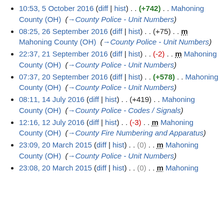10:53, 5 October 2016 (diff | hist) . . (+742) . . Mahoning County (OH) (→County Police - Unit Numbers)
08:25, 26 September 2016 (diff | hist) . . (+75) . . m Mahoning County (OH) (→County Police - Unit Numbers)
22:37, 21 September 2016 (diff | hist) . . (-2) . . m Mahoning County (OH) (→County Police - Unit Numbers)
07:37, 20 September 2016 (diff | hist) . . (+578) . . Mahoning County (OH) (→County Police - Unit Numbers)
08:11, 14 July 2016 (diff | hist) . . (+419) . . Mahoning County (OH) (→County Police - Codes / Signals)
12:16, 12 July 2016 (diff | hist) . . (-3) . . m Mahoning County (OH) (→County Fire Numbering and Apparatus)
23:09, 20 March 2015 (diff | hist) . . (0) . . m Mahoning County (OH) (→County Police - Unit Numbers)
23:08, 20 March 2015 (diff | hist) . . (0) . . m Mahoning